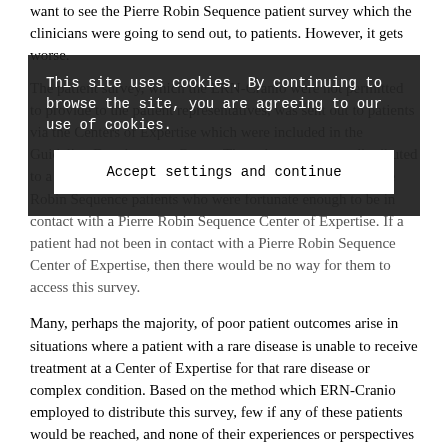want to see the Pierre Robin Sequence patient survey which the clinicians were going to send out, to patients. However, it gets worse.
The patient survey, which the ERN-Cranio were not permitted to provide to the patient representatives, was sent out to patients via the Centers of Expertise which were included in the Guideline Development Group. Thus, the survey was distributed to a specific subset of Pierre Robin Sequence patients: Pierre Robin Sequence patients who were fortunate enough to be in contact with a Pierre Robin Sequence Center of Expertise. If a patient had not been in contact with a Pierre Robin Sequence Center of Expertise, then there would be no way for them to access this survey.
Many, perhaps the majority, of poor patient outcomes arise in situations where a patient with a rare disease is unable to receive treatment at a Center of Expertise for that rare disease or complex condition. Based on the method which ERN-Cranio employed to distribute this survey, few if any of these patients would be reached, and none of their experiences or perspectives would be recorded. This is ironic